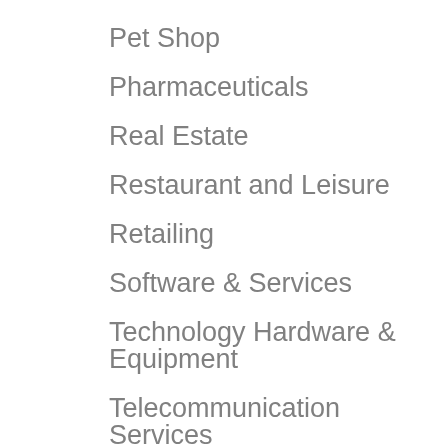Pet Shop
Pharmaceuticals
Real Estate
Restaurant and Leisure
Retailing
Software & Services
Technology Hardware & Equipment
Telecommunication Services
Textile
Title III and ADA Complaint Websites
Tobacco
Transportation
Uncategorized
Utilities
Utility Tools